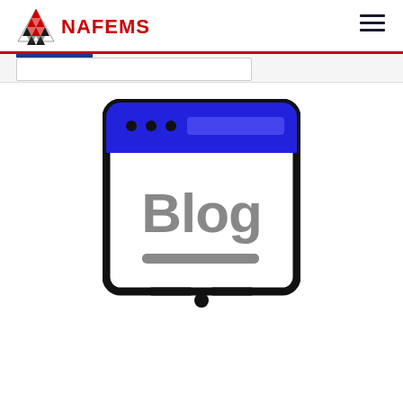NAFEMS
[Figure (illustration): Browser window icon with blue title bar showing three dots and an address bar, white content area with 'Blog' text in grey and a grey underline bar, and a dot at the bottom representing a monitor stand. Represents a blog webpage concept.]